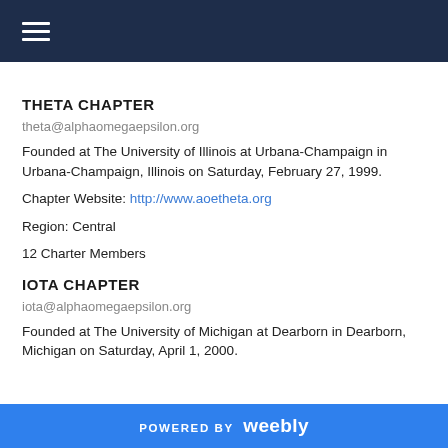≡ (navigation bar)
THETA CHAPTER
theta@alphaomegaepsilon.org
Founded at The University of Illinois at Urbana-Champaign in Urbana-Champaign, Illinois on Saturday, February 27, 1999.
Chapter Website: http://www.aoetheta.org
Region: Central
12 Charter Members
IOTA CHAPTER
iota@alphaomegaepsilon.org
Founded at The University of Michigan at Dearborn in Dearborn, Michigan on Saturday, April 1, 2000.
POWERED BY weebly